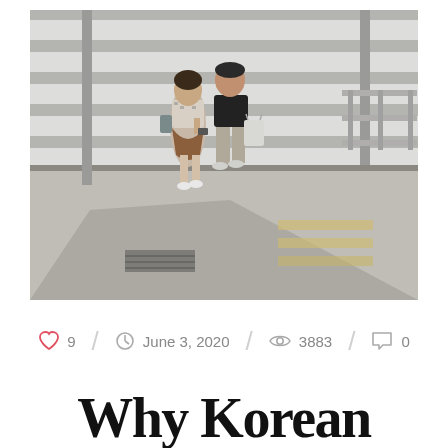[Figure (photo): Aerial view of two people (a woman in a patterned top and brown skirt, and a man in black top with khaki pants) standing on a pedestrian crosswalk/sidewalk area, looking at a phone. Urban street scene with white crosswalk stripes, tactile paving, and poles visible.]
9   June 3, 2020   3883   0
Why Korean